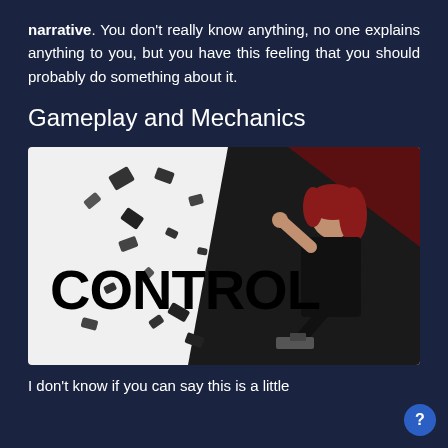narrative. You don't really know anything, no one explains anything to you, but you have this feeling that you should probably do something about it.
Gameplay and Mechanics
[Figure (photo): Promotional artwork for the video game 'Control' showing a red-haired woman in a black jacket holding a gun, with debris flying around her, against a white and dark angular background with the word CONTROL in large black letters.]
I don't know if you can say this is a little